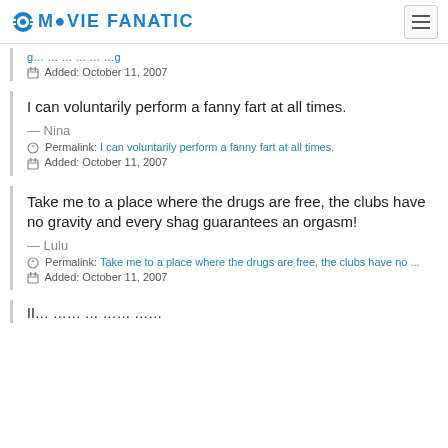MOVIE FANATIC
Added: October 11, 2007
I can voluntarily perform a fanny fart at all times.
— Nina
Permalink: I can voluntarily perform a fanny fart at all times.
Added: October 11, 2007
Take me to a place where the drugs are free, the clubs have no gravity and every shag guarantees an orgasm!
— Lulu
Permalink: Take me to a place where the drugs are free, the clubs have no ...
Added: October 11, 2007